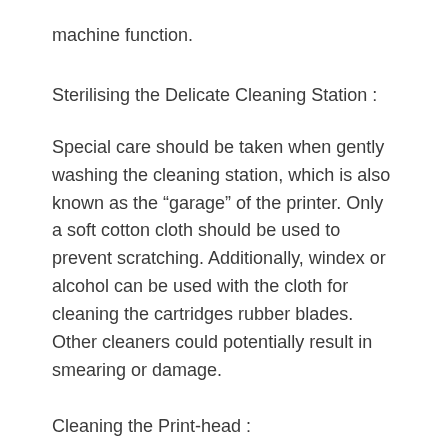machine function.
Sterilising the Delicate Cleaning Station :
Special care should be taken when gently washing the cleaning station, which is also known as the “garage” of the printer. Only a soft cotton cloth should be used to prevent scratching. Additionally, windex or alcohol can be used with the cloth for cleaning the cartridges rubber blades. Other cleaners could potentially result in smearing or damage.
Cleaning the Print-head :
As the part of the printer that applies ink to paper when completing the process of printing, the print-head is a vital portion of the machine to be maintained and cleaned